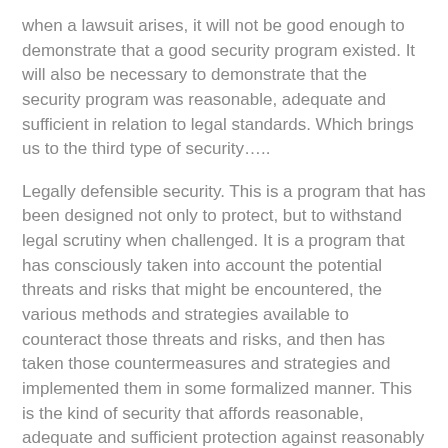when a lawsuit arises, it will not be good enough to demonstrate that a good security program existed. It will also be necessary to demonstrate that the security program was reasonable, adequate and sufficient in relation to legal standards. Which brings us to the third type of security…..
Legally defensible security. This is a program that has been designed not only to protect, but to withstand legal scrutiny when challenged. It is a program that has consciously taken into account the potential threats and risks that might be encountered, the various methods and strategies available to counteract those threats and risks, and then has taken those countermeasures and strategies and implemented them in some formalized manner. This is the kind of security that affords reasonable, adequate and sufficient protection against reasonably foreseeable risks.
In other words, the best security program is one which not only achieves its protective function successfully, but which has been developed and implemented in a manner which can be defended in court.